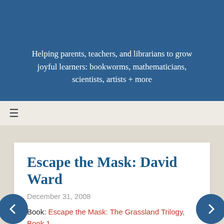Helping parents, teachers, and librarians to grow joyful learners: bookworms, mathematicians, scientists, artists + more
[Figure (other): Hamburger menu icon (three horizontal lines)]
Escape the Mask: David Ward
December 31, 2008
Book: Escape the Mask: The Grassland Trilogy, Book 1